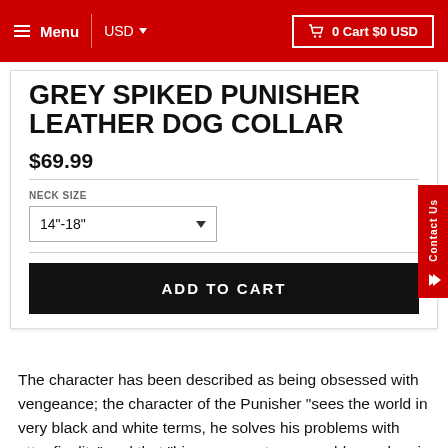Menu  USD  0 Cart $0 USD
GREY SPIKED PUNISHER LEATHER DOG COLLAR
$69.99
NECK SIZE
14"-18"
ADD TO CART
The character has been described as being obsessed with vengeance; the character of the Punisher "sees the world in very black and white terms, he solves his problems with utter finality" and that "his response to any problem: when in doubt, hit back